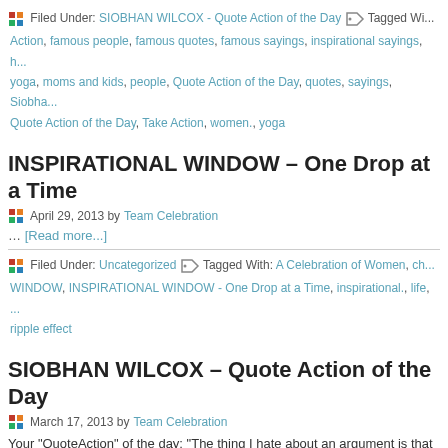Filed Under: SIOBHAN WILCOX - Quote Action of the Day Tagged With: Action, famous people, famous quotes, famous sayings, inspirational sayings, yoga, moms and kids, people, Quote Action of the Day, quotes, sayings, Siobhan Quote Action of the Day, Take Action, women., yoga
INSPIRATIONAL WINDOW – One Drop at a Time
April 29, 2013 by Team Celebration
… [Read more...]
Filed Under: Uncategorized Tagged With: A Celebration of Women, INSPIRATIONAL WINDOW, INSPIRATIONAL WINDOW - One Drop at a Time, inspirational., life, ripple effect
SIOBHAN WILCOX – Quote Action of the Day
March 17, 2013 by Team Celebration
Your "QuoteAction" of the day: "The thing I hate about an argument is that it alv... Writer, G.K. Chesterton Your Action for today is: 'to see if you can have a discus... you recently had an argument.' Have an extraordinary day! Wishing you Love, L... Siobhan Wilcox Be the change that you want to see! Siobhan Wilcox 3435 Can... Diego, CA 92163 Siobhan @Siobhan-Wilco... [Read more...]